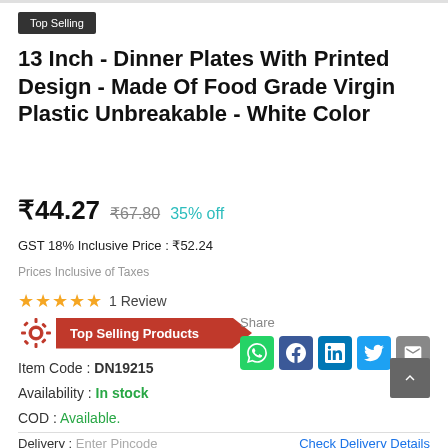Top Selling
13 Inch - Dinner Plates With Printed Design - Made Of Food Grade Virgin Plastic Unbreakable - White Color
₹44.27  ₹67.80  35% off
GST 18% Inclusive Price : ₹52.24
Prices Inclusive of Taxes
★★★★★ 1 Review
[Figure (logo): Top Selling Products badge with gear icon and red ribbon label]
Share
[Figure (infographic): Social share icons: WhatsApp, Facebook, LinkedIn, Twitter, Email]
Item Code : DN19215
Availability : In stock
COD : Available.
Delivery : Enter Pincode    Check Delivery Details